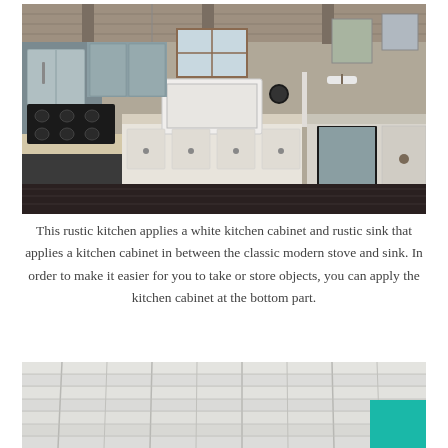[Figure (photo): Interior photo of a rustic kitchen with white kitchen cabinets, a farmhouse sink, dark island with gas cooktop, hanging pendant lights, wood beam ceiling, stainless steel appliances, and decorative items on the walls.]
This rustic kitchen applies a white kitchen cabinet and rustic sink that applies a kitchen cabinet in between the classic modern stove and sink. In order to make it easier for you to take or store objects, you can apply the kitchen cabinet at the bottom part.
[Figure (photo): Close-up photo of a white painted rustic wooden plank ceiling or wall with visible wood grain and joints. A teal/turquoise colored element is visible in the bottom right corner.]